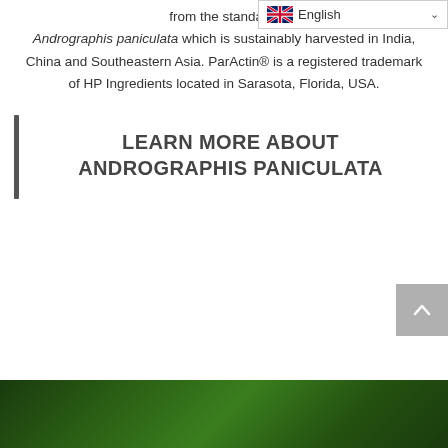[Figure (screenshot): Language selector dropdown showing English with UK flag icon]
from the standard. Andrographis paniculata which is sustainably harvested in India, China and Southeastern Asia. ParActin® is a registered trademark of HP Ingredients located in Sarasota, Florida, USA.
LEARN MORE ABOUT ANDROGRAPHIS PANICULATA
[Figure (photo): Green plant foliage at bottom of page]